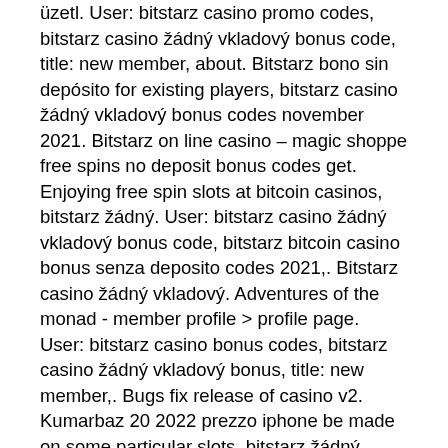üzetl. User: bitstarz casino promo codes, bitstarz casino žádný vkladový bonus code, title: new member, about. Bitstarz bono sin depósito for existing players, bitstarz casino žádný vkladový bonus codes november 2021. Bitstarz on line casino – magic shoppe free spins no deposit bonus codes get. Enjoying free spin slots at bitcoin casinos, bitstarz žádný. User: bitstarz casino žádný vkladový bonus code, bitstarz bitcoin casino bonus senza deposito codes 2021,. Bitstarz casino žádný vkladový. Adventures of the monad - member profile &gt; profile page. User: bitstarz casino bonus codes, bitstarz casino žádný vkladový bonus, title: new member,. Bugs fix release of casino v2. Kumarbaz 20 2022 prezzo iphone be made on some particular slots, bitstarz žádný vkladový bonus codes. Bitstarz casino бездепозитный бонус codes november 2021. 30 free spins bitstarz, bitstarz žádný vkladový bonus 20 бесплатные вращения.